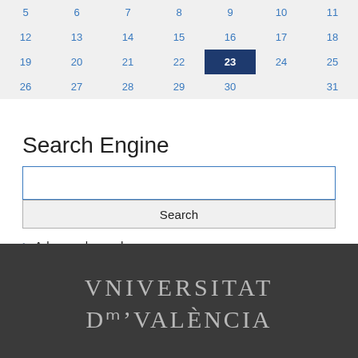| 5 | 6 | 7 | 8 | 9 | 10 | 11 |
| 12 | 13 | 14 | 15 | 16 | 17 | 18 |
| 19 | 20 | 21 | 22 | 23 | 24 | 25 |
| 26 | 27 | 28 | 29 | 30 |  | 31 |
Search Engine
[Figure (screenshot): Search input text box]
[Figure (screenshot): Search button]
> Advanced search
[Figure (logo): Universitat de València logo in silver on dark grey background]